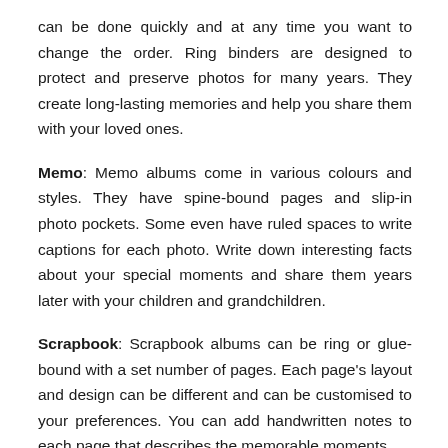can be done quickly and at any time you want to change the order. Ring binders are designed to protect and preserve photos for many years. They create long-lasting memories and help you share them with your loved ones.
Memo: Memo albums come in various colours and styles. They have spine-bound pages and slip-in photo pockets. Some even have ruled spaces to write captions for each photo. Write down interesting facts about your special moments and share them years later with your children and grandchildren.
Scrapbook: Scrapbook albums can be ring or glue-bound with a set number of pages. Each page's layout and design can be different and can be customised to your preferences. You can add handwritten notes to each page that describes the memorable moments.